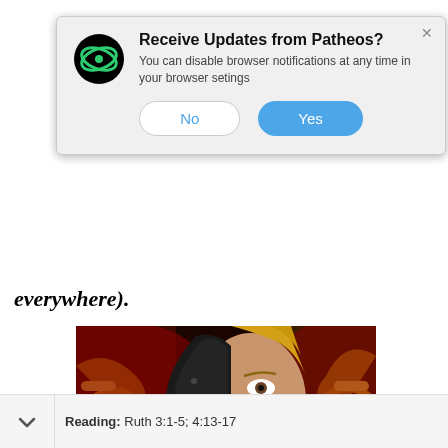[Figure (screenshot): Browser notification popup dialog from Patheos with logo icon, title 'Receive Updates from Patheos?', body text, and No/Yes buttons]
everywhere).
[Figure (illustration): Digital art of a woman's face half-covered by a dark metallic mask, with a red hood and golden ornamental background]
Reading: Ruth 3:1-5; 4:13-17